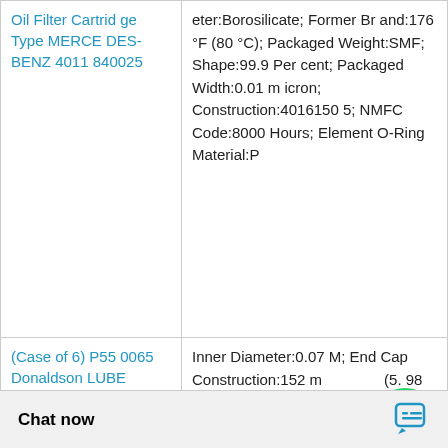| Product | Specifications |
| --- | --- |
| Oil Filter Cartridge Type MERCEDES-BENZ 4011840025 | eter:Borosilicate; Former Brand:176 °F (80 °C); Packaged Weight:SMF; Shape:99.9 Percent; Packaged Width:0.01 micron; Construction:40161505; NMFC Code:8000 Hours; Element O-Ring Material:P |
| (Case of 6) P550065 Donaldson LUBE FILTER KIT | Inner Diameter:0.07 M; End Cap Construction:152 mm (5.98 inch); Temperature:AG, SG and HD Element; Packaged Height:0.01 milS Code:069100-06; Construction:Borosilicate; Current Brand:UF Threaded End; NMFC Code:MF HTNX; Filter Area:Viton®; Length:8000 Hours; Packaged Length:0.16 M; Maximum |
|  | e:Germany; Inner 5 KG; Anti-Static: |
Chat now
[Figure (logo): WhatsApp Online green circle badge with phone icon and 'WhatsApp Online' label]